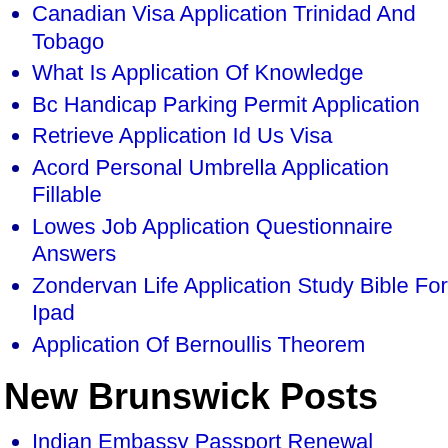Canadian Visa Application Trinidad And Tobago
What Is Application Of Knowledge
Bc Handicap Parking Permit Application
Retrieve Application Id Us Visa
Acord Personal Umbrella Application Fillable
Lowes Job Application Questionnaire Answers
Zondervan Life Application Study Bible For Ipad
Application Of Bernoullis Theorem
New Brunswick Posts
Indian Embassy Passport Renewal Application Form
Extraction En Phase Solide Spe ThГ©orie Et Applications
Bottom Of Extension Application